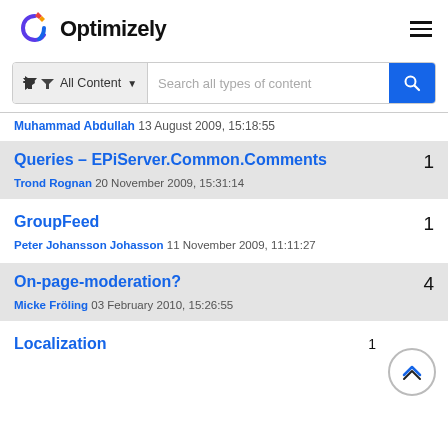Optimizely
All Content  Search all types of content
Muhammad Abdullah 13 August 2009, 15:18:55
Queries – EPiServer.Common.Comments
Trond Rognan 20 November 2009, 15:31:14
1
GroupFeed
Peter Johansson Johasson 11 November 2009, 11:11:27
1
On-page-moderation?
Micke Fröling 03 February 2010, 15:26:55
4
Localization